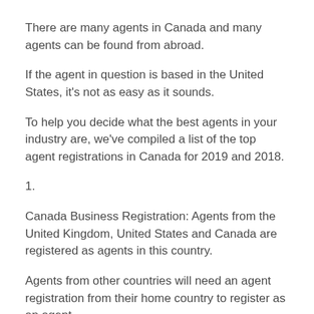There are many agents in Canada and many agents can be found from abroad.
If the agent in question is based in the United States, it's not as easy as it sounds.
To help you decide what the best agents in your industry are, we've compiled a list of the top agent registrations in Canada for 2019 and 2018.
1.
Canada Business Registration: Agents from the United Kingdom, United States and Canada are registered as agents in this country.
Agents from other countries will need an agent registration from their home country to register as an agent.